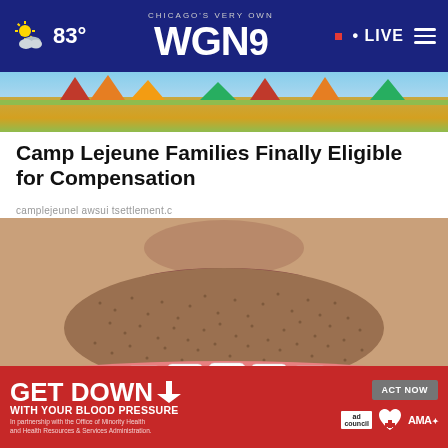CHICAGO'S VERY OWN WGN9 · LIVE · 83°
[Figure (photo): Outdoor landscape banner strip with autumn foliage colors, orange and green tones]
Camp Lejeune Families Finally Eligible for Compensation
camplejeunel awsui tsettlement.c
[Figure (photo): Close-up photo of a man's lower face showing white teeth and stubble beard]
GET DOWN ↓ WITH YOUR BLOOD PRESSURE In partnership with the Office of Minority Health and Health Resources & Services Administration. ACT NOW